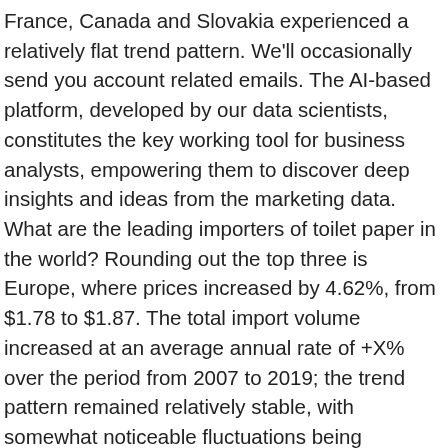France, Canada and Slovakia experienced a relatively flat trend pattern. We'll occasionally send you account related emails. The AI-based platform, developed by our data scientists, constitutes the key working tool for business analysts, empowering them to discover deep insights and ideas from the marketing data. What are the leading importers of toilet paper in the world? Rounding out the top three is Europe, where prices increased by 4.62%, from $1.78 to $1.87. The total import volume increased at an average annual rate of +X% over the period from 2007 to 2019; the trend pattern remained relatively stable, with somewhat noticeable fluctuations being recorded in certain years. Purchase the Re-examining Toilet Paper : Global Strategies for Growth strategy briefing as part of our tissue and hygiene market research for January 2013. As a result, production reached the peak level and is likely to continue growth in the immediate term. In 2019, the average toilet paper import price amounted to $X per tonne, dropping by -X% against the previous year. Over the period under